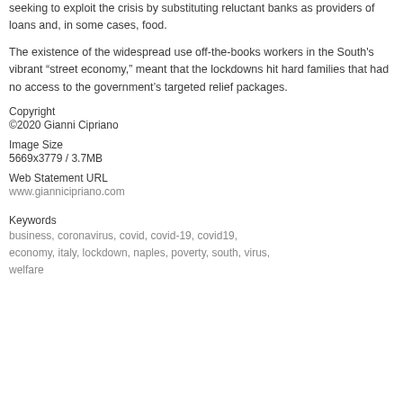seeking to exploit the crisis by substituting reluctant banks as providers of loans and, in some cases, food.
The existence of the widespread use off-the-books workers in the South's vibrant “street economy,” meant that the lockdowns hit hard families that had no access to the government’s targeted relief packages.
Copyright
©2020 Gianni Cipriano
Image Size
5669x3779 / 3.7MB
Web Statement URL
www.giannicipriano.com
Keywords
business, coronavirus, covid, covid-19, covid19, economy, italy, lockdown, naples, poverty, south, virus, welfare